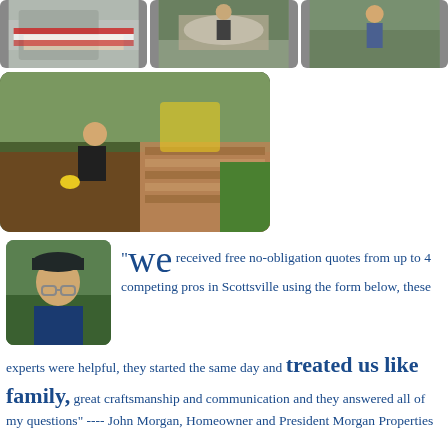[Figure (photo): Top row of three photos: a truck/vehicle with red and white markings, a person doing landscaping/construction work with gravel, and a person in blue pants outdoors]
[Figure (photo): Large photo of a worker in black shirt and yellow gloves digging/laying brickwork in a garden, with a yellow machine in background]
[Figure (photo): Portrait photo of an older man with glasses and a dark cap, outdoors with green foliage background]
"We received free no-obligation quotes from up to 4 competing pros in Scottsville using the form below, these experts were helpful, they started the same day and treated us like family, great craftsmanship and communication and they answered all of my questions" ---- John Morgan, Homeowner and President Morgan Properties